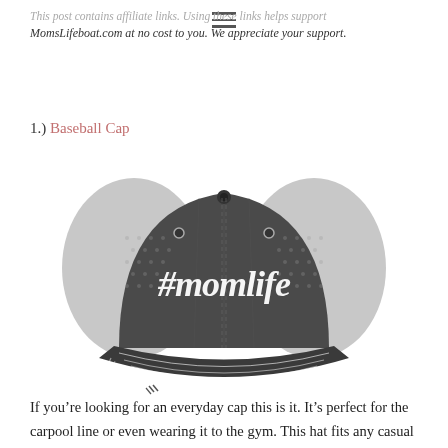This post contains affiliate links. Using these links helps support MomsLifeboat.com at no cost to you. We appreciate your support.
1.) Baseball Cap
[Figure (photo): A distressed dark gray trucker-style baseball cap with gray mesh back panels, white embroidery reading '#momlife' on the front panel.]
If you’re looking for an everyday cap this is it. It’s perfect for the carpool line or even wearing it to the gym. This hat fits any casual